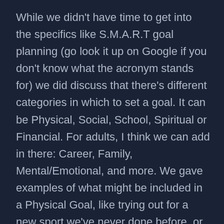While we didn't have time to get into the specifics like S.M.A.R.T goal planning (go look it up on Google if you don't know what the acronym stands for) we did discuss that there's different categories in which to set a goal. It can be Physical, Social, School, Spiritual or Financial. For adults, I think we can add in there: Career, Family, Mental/Emotional, and more. We gave examples of what might be included in a Physical Goal, like trying out for a new sport we've never done before, or wanting to complete a running challenge, or even drinking more water. Social goals can include intentionally making a new friend at school or church, committing to call a grandparent once a month, or write a card/letter to a different adult who cares about you each month. Spiritual goals of reading